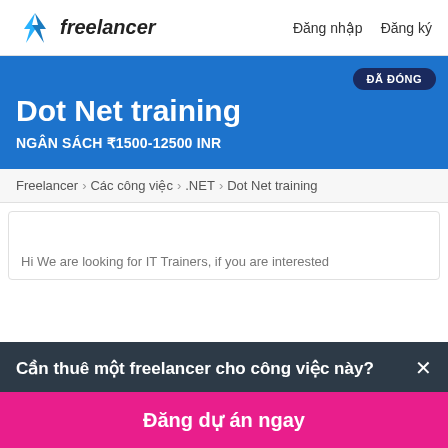freelancer  Đăng nhập  Đăng ký
Dot Net training
NGÂN SÁCH ₹1500-12500 INR
ĐÃ ĐÓNG
Freelancer › Các công việc › .NET › Dot Net training
Hi We are looking for IT Trainers, if you are interested
Cần thuê một freelancer cho công việc này?
Đăng dự án ngay